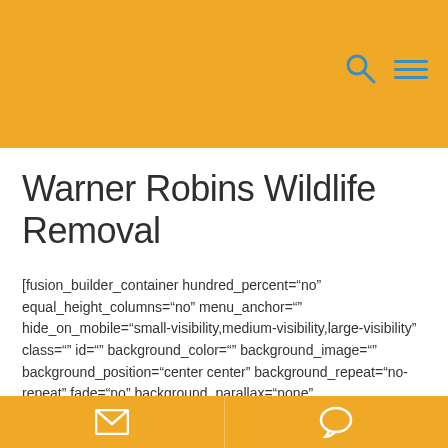Warner Robins Wildlife Removal
[fusion_builder_container hundred_percent="no" equal_height_columns="no" menu_anchor="" hide_on_mobile="small-visibility,medium-visibility,large-visibility" class="" id="" background_color="" background_image="" background_position="center center" background_repeat="no-repeat" fade="no" background_parallax="none" parallax_speed="0.3"